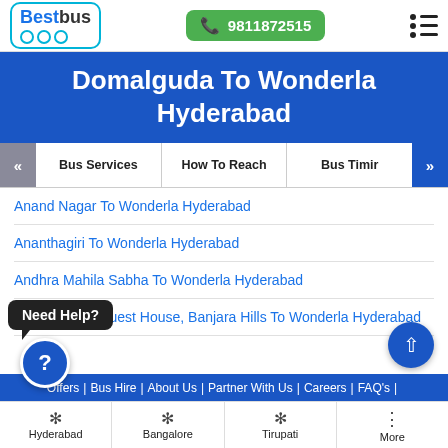[Figure (logo): BestBus logo with phone number 9811872515 and menu icon in header]
Domalguda To Wonderla Hyderabad
Bus Services | How To Reach | Bus Timir
Anand Nagar To Wonderla Hyderabad
Ananthagiri To Wonderla Hyderabad
Andhra Mahila Sabha To Wonderla Hyderabad
Anil Tandoon Guest House, Banjara Hills To Wonderla Hyderabad
Need Help?
Offers | Bus Hire | About Us | Partner With Us | Careers | FAQ's |
Hyderabad | Bangalore | Tirupati | More